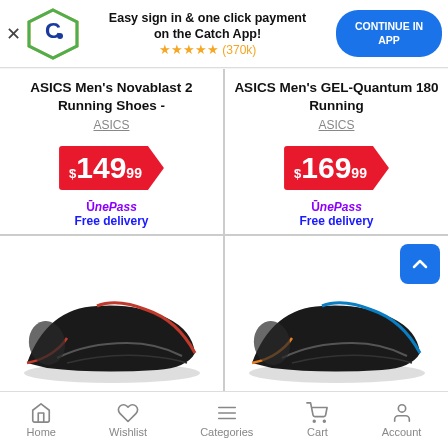[Figure (screenshot): Catch app promotional banner with Catch logo, star rating, and Continue in App button]
Easy sign in & one click payment on the Catch App!
★★★★★ (370k)
CONTINUE IN APP
ASICS Men's Novablast 2 Running Shoes -
ASICS
$149.99
OnePass Free delivery
ASICS Men's GEL-Quantum 180 Running
ASICS
$169.99
OnePass Free delivery
[Figure (photo): Black ASICS running shoe with red accents, left product card bottom]
[Figure (photo): Black ASICS running shoe with blue and orange accents, right product card bottom]